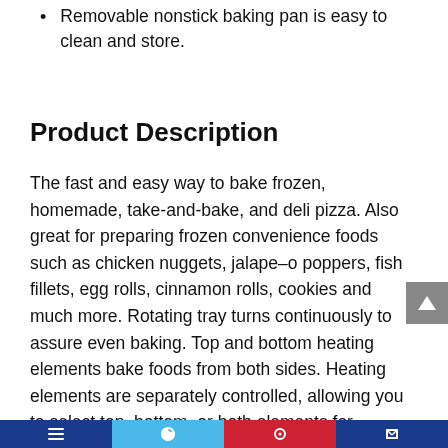Removable nonstick baking pan is easy to clean and store.
Product Description
The fast and easy way to bake frozen, homemade, take-and-bake, and deli pizza. Also great for preparing frozen convenience foods such as chicken nuggets, jalape–o poppers, fish fillets, egg rolls, cinnamon rolls, cookies and much more. Rotating tray turns continuously to assure even baking. Top and bottom heating elements bake foods from both sides. Heating elements are separately controlled, allowing you to select top, bottom, or both elements for